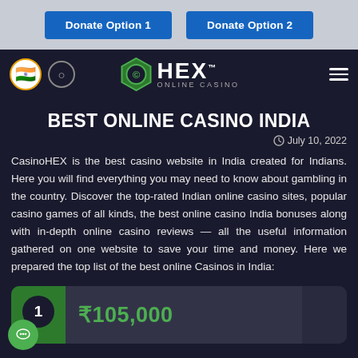[Figure (screenshot): Two blue donation buttons: 'Donate Option 1' and 'Donate Option 2' on a gray bar]
[Figure (logo): HEX Online Casino logo with Indian flag and search icon on dark navy navigation bar]
BEST ONLINE CASINO INDIA
July 10, 2022
CasinoHEX is the best casino website in India created for Indians. Here you will find everything you may need to know about gambling in the country. Discover the top-rated Indian online casino sites, popular casino games of all kinds, the best online casino India bonuses along with in-depth online casino reviews — all the useful information gathered on one website to save your time and money. Here we prepared the top list of the best online Casinos in India:
[Figure (screenshot): Casino listing card with rank badge '1' and bonus amount '₹105,000' in green]